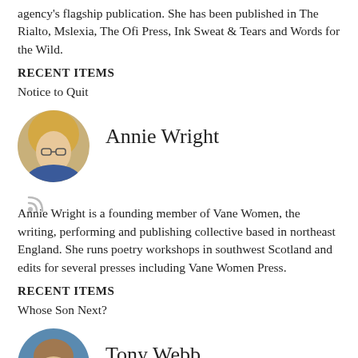agency's flagship publication. She has been published in The Rialto, Mslexia, The Ofi Press, Ink Sweat & Tears and Words for the Wild.
RECENT ITEMS
Notice to Quit
[Figure (photo): Circular portrait photo of Annie Wright, a woman with blonde hair and glasses]
Annie Wright
Annie Wright is a founding member of Vane Women, the writing, performing and publishing collective based in northeast England. She runs poetry workshops in southwest Scotland and edits for several presses including Vane Women Press.
RECENT ITEMS
Whose Son Next?
[Figure (photo): Circular portrait photo of Tony Webb, partially visible at bottom of page]
Tony Webb